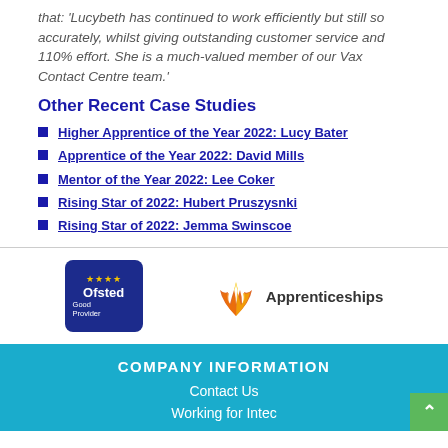that: 'Lucybeth has continued to work efficiently but still so accurately, whilst giving outstanding customer service and 110% effort. She is a much-valued member of our Vax Contact Centre team.'
Other Recent Case Studies
Higher Apprentice of the Year 2022: Lucy Bater
Apprentice of the Year 2022: David Mills
Mentor of the Year 2022: Lee Coker
Rising Star of 2022: Hubert Pruszysnki
Rising Star of 2022: Jemma Swinscoe
[Figure (logo): Ofsted Good Provider badge - dark blue badge with stars and text]
[Figure (logo): Apprenticeships logo with orange/yellow wing graphic and bold text]
COMPANY INFORMATION
Contact Us
Working for Intec